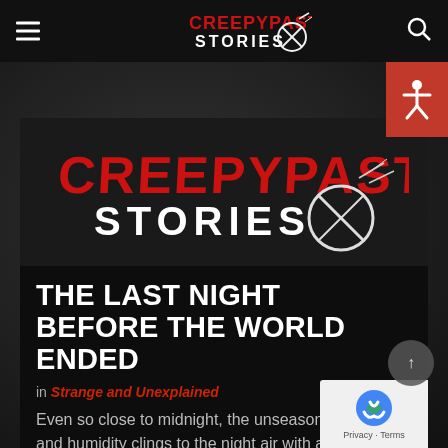Creepypasta Stories — navigation bar with hamburger menu and search icon
[Figure (logo): Creepypasta Stories logo — red horror-style 'CREEPYPASTA' text above white bold 'STORIES' text with crossed-circle symbol, on dark textured background]
THE LAST NIGHT BEFORE THE WORLD ENDED
in Strange and Unexplained
Even so close to midnight, the unseasonable heat and humidity clings to the night air with a